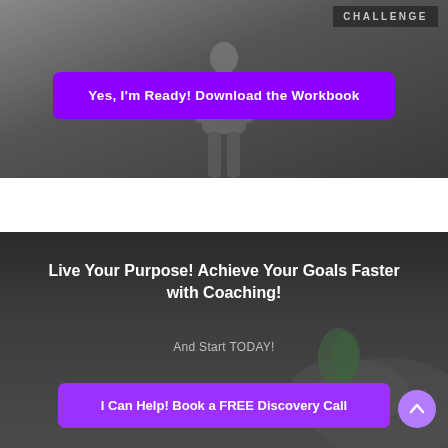[Figure (photo): Top section with dark background showing a person in a suit, with 'CHALLENGE' label in upper right corner]
Yes, I'm Ready! Download the Workbook
[Figure (photo): Bottom dark section with hands holding a green leaf/plant, overlaid with coaching promotional text]
Live Your Purpose! Achieve Your Goals Faster with Coaching!
And Start TODAY!
I Can Help! Book a FREE Discovery Call